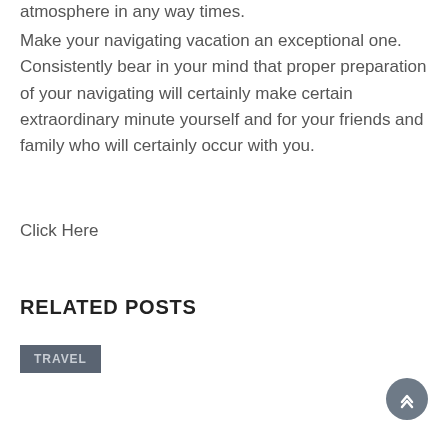atmosphere in any way times.
Make your navigating vacation an exceptional one. Consistently bear in your mind that proper preparation of your navigating will certainly make certain extraordinary minute yourself and for your friends and family who will certainly occur with you.
Click Here
RELATED POSTS
TRAVEL